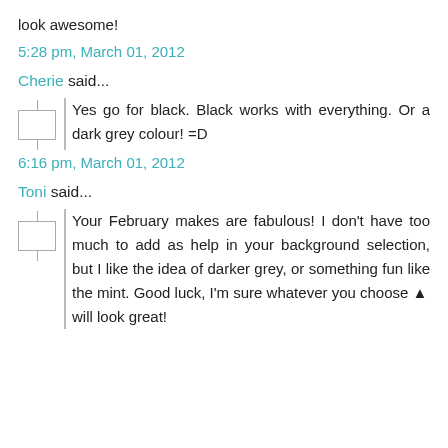look awesome!
5:28 pm, March 01, 2012
Cherie said...
Yes go for black. Black works with everything. Or a dark grey colour! =D
6:16 pm, March 01, 2012
Toni said...
Your February makes are fabulous! I don't have too much to add as help in your background selection, but I like the idea of darker grey, or something fun like the mint. Good luck, I'm sure whatever you choose ^ will look great!